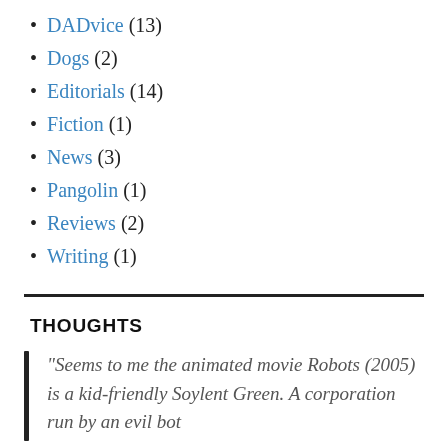DADvice (13)
Dogs (2)
Editorials (14)
Fiction (1)
News (3)
Pangolin (1)
Reviews (2)
Writing (1)
THOUGHTS
“Seems to me the animated movie Robots (2005) is a kid-friendly Soylent Green. A corporation run by an evil bot